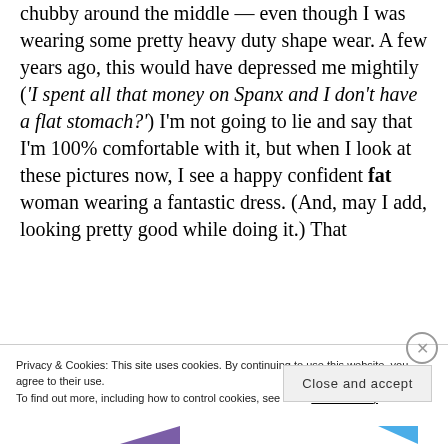chubby around the middle — even though I was wearing some pretty heavy duty shape wear. A few years ago, this would have depressed me mightily ('I spent all that money on Spanx and I don't have a flat stomach?') I'm not going to lie and say that I'm 100% comfortable with it, but when I look at these pictures now, I see a happy confident fat woman wearing a fantastic dress. (And, may I add, looking pretty good while doing it.) That
Privacy & Cookies: This site uses cookies. By continuing to use this website, you agree to their use. To find out more, including how to control cookies, see here: Cookie Policy